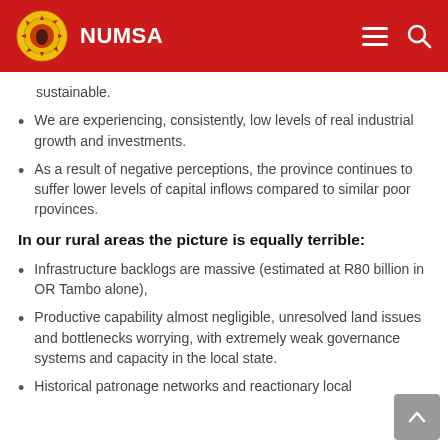NUMSA
sustainable.
We are experiencing, consistently, low levels of real industrial growth and investments.
As a result of negative perceptions, the province continues to suffer lower levels of capital inflows compared to similar poor rpovinces.
In our rural areas the picture is equally terrible:
Infrastructure backlogs are massive (estimated at R80 billion in OR Tambo alone),
Productive capability almost negligible, unresolved land issues and bottlenecks worrying, with extremely weak governance systems and capacity in the local state.
Historical patronage networks and reactionary local